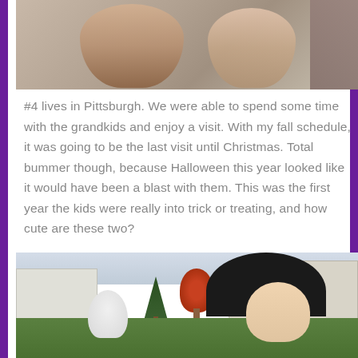[Figure (photo): Photo of two adults (grandparents) from shoulders up, partial view, indoor/outdoor setting]
#4 lives in Pittsburgh. We were able to spend some time with the grandkids and enjoy a visit. With my fall schedule, it was going to be the last visit until Christmas. Total bummer though, because Halloween this year looked like it would have been a blast with them. This was the first year the kids were really into trick or treating, and how cute are these two?
[Figure (photo): Two children in Halloween costumes outdoors — one dressed as a ghost (white, left) and one as a witch (black hat, right) — with a house and autumn red tree in the background]